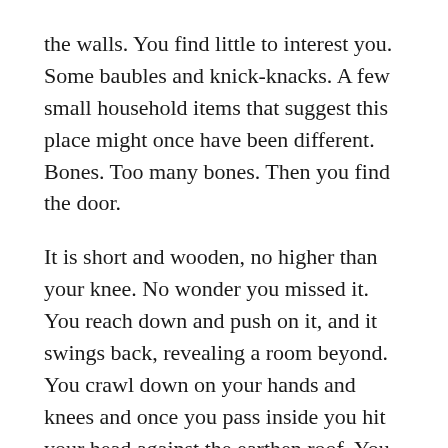the walls. You find little to interest you. Some baubles and knick-knacks. A few small household items that suggest this place might once have been different. Bones. Too many bones. Then you find the door.
It is short and wooden, no higher than your knee. No wonder you missed it. You reach down and push on it, and it swings back, revealing a room beyond. You crawl down on your hands and knees and once you pass inside you hit your head against the earthen roof. You feel small threads of root tendrils tracing your ears. The ceiling is low. The image of a veal crate leaps into your mind without asking and the purpose of this place becomes clear. It